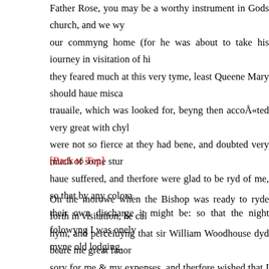Father Rose, you may be a worthy instrument in Gods church, and we wyl our commyng home (for he was about to take his iourney in visitation of his they feared much at this very tyme, least Queene Mary should haue misca trauaile, which was looked for, beyng then accoÅ«ted very great with chyld were not so fierce at they had bene, and doubted very much of some sturr haue suffered, and therfore were glad to be ryd of me, so that by any colorab their own discharge it might be: so that the night folowyng I was onely o myne old lodging.
[Back to Top]
On the morowe when the Bishop was ready to ryde forth in visitation, he call hym, and perceiuyng that sir William Woodhouse dyd beare me great fauor, sory for me & my expenses, and therfore wished that I were somewhere, w spend no more money, tyl his returne. Why my lord (quoth sir WilliÄ Wo shall haue meate and drinke & lodgyng with me tyll your returne again, see breake vp house, & hereupon I went home with sir WilliÄ that good knig